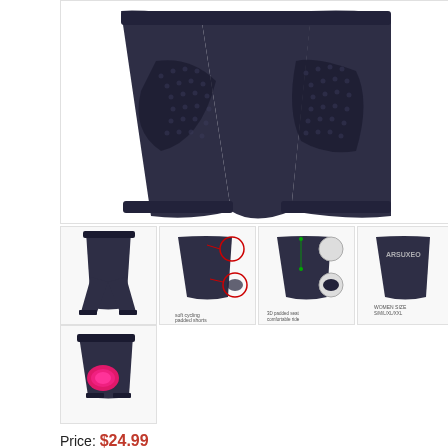[Figure (photo): Main product photo showing black cycling shorts from the back/rear view, with two legs visible and textured mesh panels on the sides]
[Figure (photo): Thumbnail 1: Full view of black cycling capri/3/4 length pants]
[Figure (photo): Thumbnail 2: Black cycling shorts with detail callout circles highlighting waistband and inner padding]
[Figure (photo): Thumbnail 3: Black cycling shorts with zoomed callout circles on padding details]
[Figure (photo): Thumbnail 4: Black cycling shorts with brand label and size info]
[Figure (photo): Thumbnail 5: Black cycling shorts showing bright pink/magenta padded seat insert (chamois pad) visible from inside]
Price: $24.99
( see [ Men S1302] 84 45 9) HTS on Detail )